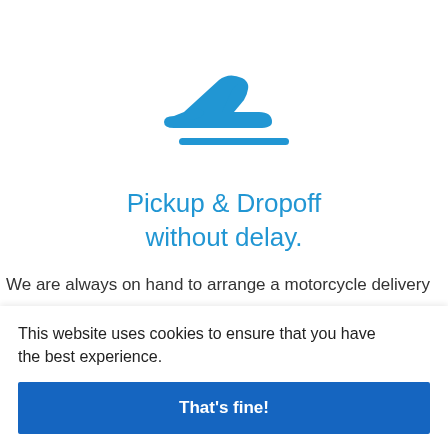[Figure (illustration): Blue airplane landing icon with a horizontal line beneath it, centered on the page]
Pickup & Dropoff without delay.
We are always on hand to arrange a motorcycle delivery
This website uses cookies to ensure that you have the best experience.
That's fine!